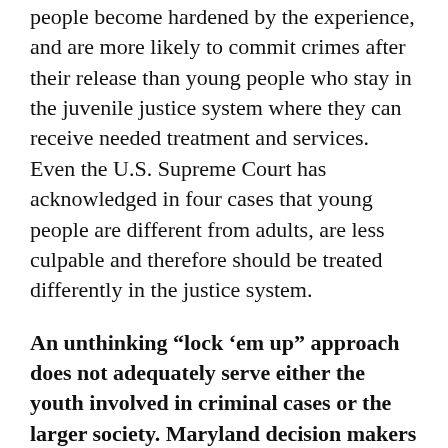people become hardened by the experience, and are more likely to commit crimes after their release than young people who stay in the juvenile justice system where they can receive needed treatment and services. Even the U.S. Supreme Court has acknowledged in four cases that young people are different from adults, are less culpable and therefore should be treated differently in the justice system.
An unthinking “lock ’em up” approach does not adequately serve either the youth involved in criminal cases or the larger society. Maryland decision makers should rethink the practice of prosecuting and sentencing youth as adults and appropriately